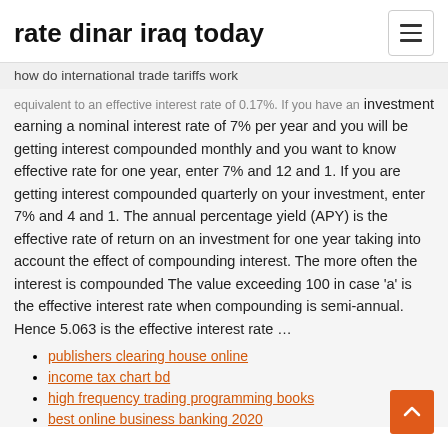rate dinar iraq today
how do international trade tariffs work
equivalent to an effective interest rate of 0.17%. If you have an investment earning a nominal interest rate of 7% per year and you will be getting interest compounded monthly and you want to know effective rate for one year, enter 7% and 12 and 1. If you are getting interest compounded quarterly on your investment, enter 7% and 4 and 1. The annual percentage yield (APY) is the effective rate of return on an investment for one year taking into account the effect of compounding interest. The more often the interest is compounded The value exceeding 100 in case 'a' is the effective interest rate when compounding is semi-annual. Hence 5.063 is the effective interest rate ...
publishers clearing house online
income tax chart bd
high frequency trading programming books
best online business banking 2020